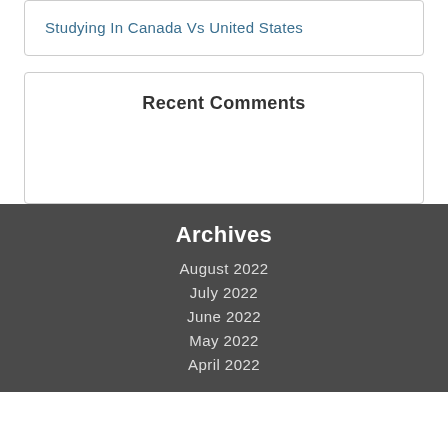Studying In Canada Vs United States
Recent Comments
Archives
August 2022
July 2022
June 2022
May 2022
April 2022